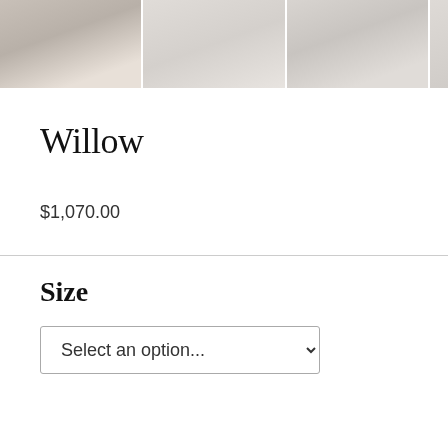[Figure (photo): Three product photos of wedding dresses in white/ivory, partially cropped, showing the upper/torso portions of the gowns.]
Willow
$1,070.00
Size
Select an option...